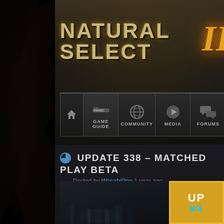[Figure (screenshot): Natural Selection 2 game website screenshot showing the logo, navigation bar with Game Guide, Community, Media, Forums tabs, and a news post titled UPDATE 338 - MATCHED PLAY BETA]
NATURAL SELECT II
GAME GUIDE  COMMUNITY  MEDIA  FORUMS
UPDATE 338 – MATCHED PLAY BETA
Posted by WasabiOne 1 year ago